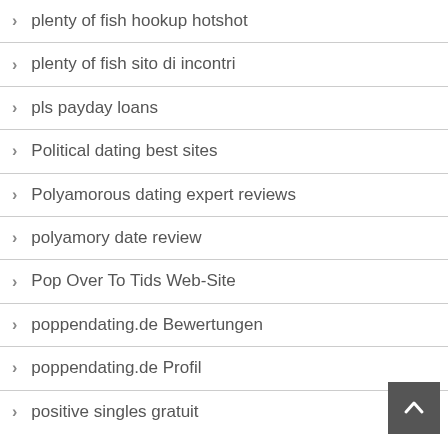plenty of fish hookup hotshot
plenty of fish sito di incontri
pls payday loans
Political dating best sites
Polyamorous dating expert reviews
polyamory date review
Pop Over To Tids Web-Site
poppendating.de Bewertungen
poppendating.de Profil
positive singles gratuit